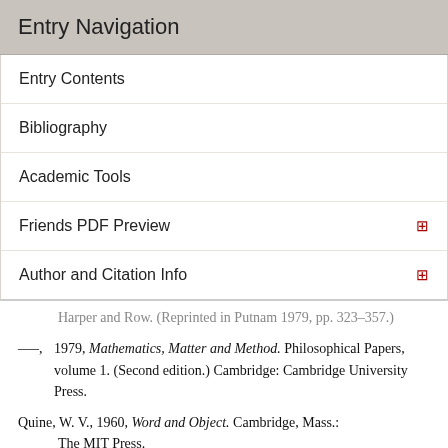Entry Navigation
Entry Contents
Bibliography
Academic Tools
Friends PDF Preview
Author and Citation Info
Harper and Row. (Reprinted in Putnam 1979, pp. 323–357.)
–––, 1979, Mathematics, Matter and Method. Philosophical Papers, volume 1. (Second edition.) Cambridge: Cambridge University Press.
Quine, W. V., 1960, Word and Object. Cambridge, Mass.: The MIT Press.
Resnik, M., 1997, Mathematics as a Science of Patterns. Oxford: Clarendon Press.
Schilpp, P.A. (ed.), 1944, The Philosophy of Bertrand